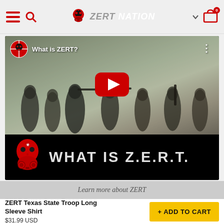ZERT NATION
[Figure (screenshot): YouTube video thumbnail showing armed soldiers in tactical gear in a foggy outdoor setting. Video title says 'What is ZERT?' with ZERT logo. A YouTube play button is shown in the center. Lower black band shows skull logo with 'WHAT IS Z.E.R.T.' text in white.]
Learn more about ZERT
ZERT Texas State Troop Long Sleeve Shirt
$31.99 USD
+ ADD TO CART